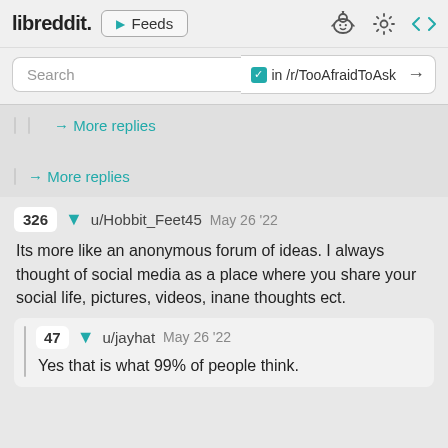libreddit. ▶ Feeds
Search  ✓ in /r/TooAfraidToAsk →
→ More replies
→ More replies
326 ▼ u/Hobbit_Feet45  May 26 '22
Its more like an anonymous forum of ideas. I always thought of social media as a place where you share your social life, pictures, videos, inane thoughts ect.
47 ▼ u/jayhat  May 26 '22
Yes that is what 99% of people think.